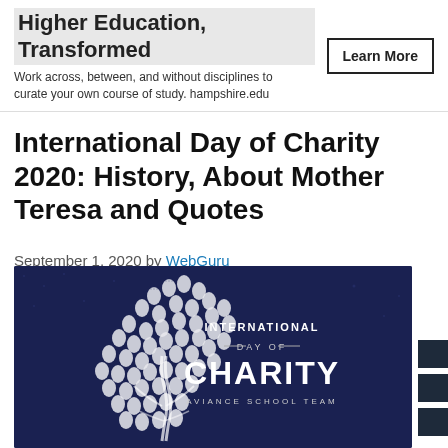[Figure (screenshot): Advertisement banner for Hampshire College: 'Higher Education, Transformed' with subtitle 'Work across, between, and without disciplines to curate your own course of study. hampshire.edu' and a 'Learn More' button]
International Day of Charity 2020: History, About Mother Teresa and Quotes
September 1, 2020 by WebGuru
[Figure (illustration): Dark navy blue banner image showing a tree made of white hand prints with the text 'INTERNATIONAL DAY OF CHARITY AVIANCE SCHOOL TEAM' on the right side]